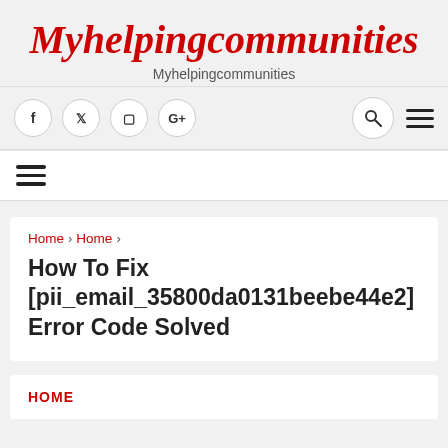Myhelpingcommunities
Myhelpingcommunities
[Figure (other): Navigation bar with social icons (f, twitter, instagram, G+), search icon circle, and hamburger menu icon]
[Figure (other): Hamburger menu icon (three horizontal lines)]
Home › Home ›
How To Fix [pii_email_35800da0131beebe44e2] Error Code Solved
HOME